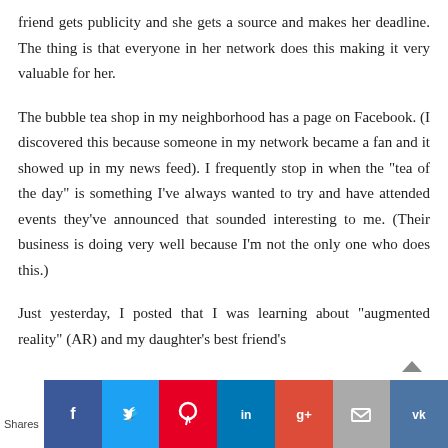friend gets publicity and she gets a source and makes her deadline. The thing is that everyone in her network does this making it very valuable for her.
The bubble tea shop in my neighborhood has a page on Facebook. (I discovered this because someone in my network became a fan and it showed up in my news feed). I frequently stop in when the "tea of the day" is something I've always wanted to try and have attended events they've announced that sounded interesting to me. (Their business is doing very well because I'm not the only one who does this.)
Just yesterday, I posted that I was learning about "augmented reality" (AR) and my daughter's best friend's
Shares